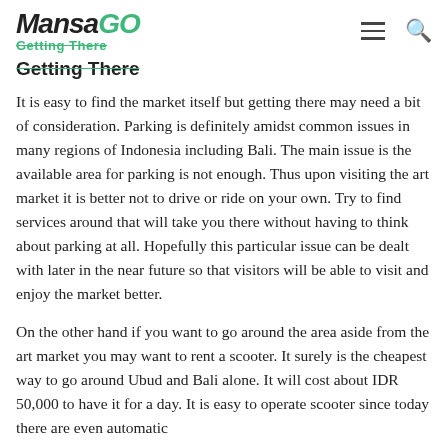MansaGO — Getting There
Getting There
It is easy to find the market itself but getting there may need a bit of consideration. Parking is definitely amidst common issues in many regions of Indonesia including Bali. The main issue is the available area for parking is not enough. Thus upon visiting the art market it is better not to drive or ride on your own. Try to find services around that will take you there without having to think about parking at all. Hopefully this particular issue can be dealt with later in the near future so that visitors will be able to visit and enjoy the market better.
On the other hand if you want to go around the area aside from the art market you may want to rent a scooter. It surely is the cheapest way to go around Ubud and Bali alone. It will cost about IDR 50,000 to have it for a day. It is easy to operate scooter since today there are even automatic